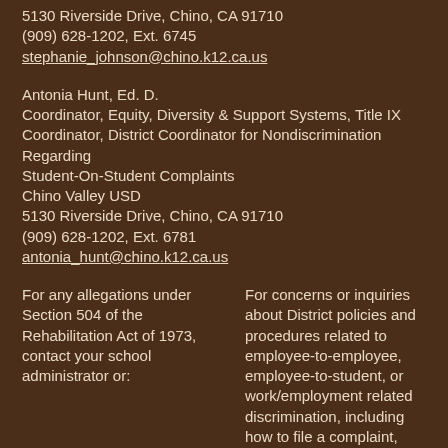5130 Riverside Drive, Chino, CA 91710
(909) 628-1202, Ext. 6745
stephanie_johnson@chino.k12.ca.us
Antonia Hunt, Ed. D.
Coordinator, Equity, Diversity & Support Systems, Title IX Coordinator, District Coordinator for Nondiscrimination Regarding Student-On-Student Complaints
Chino Valley USD
5130 Riverside Drive, Chino, CA 91710
(909) 628-1202, Ext. 6781
antonia_hunt@chino.k12.ca.us
For any allegations under Section 504 of the Rehabilitation Act of 1973, contact your school administrator or:
For concerns or inquiries about District policies and procedures related to employee-to-employee, employee-to-student, or work/employment related discrimination, including how to file a complaint, contact your school administrator or :
Al Bennett
Richard Rideout